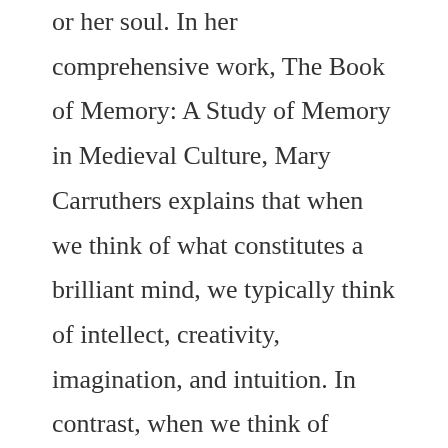or her soul. In her comprehensive work, The Book of Memory: A Study of Memory in Medieval Culture, Mary Carruthers explains that when we think of what constitutes a brilliant mind, we typically think of intellect, creativity, imagination, and intuition. In contrast, when we think of memory, we typically consider it as a mental capacity that does not necessarily include authentic thought and learning. That is,